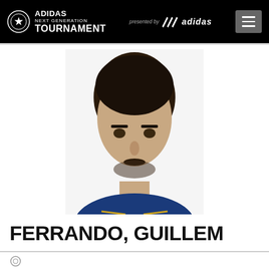ADIDAS NEXT GENERATION TOURNAMENT presented by adidas
[Figure (photo): Headshot portrait photo of basketball player Guillem Ferrando wearing a blue and yellow jersey, white background]
FERRANDO, GUILLEM